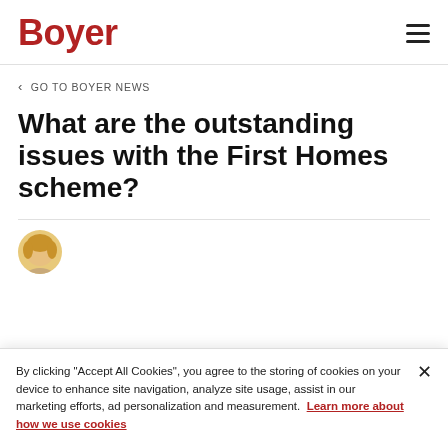Boyer
GO TO BOYER NEWS
What are the outstanding issues with the First Homes scheme?
[Figure (photo): Partial view of a person with blonde hair (author avatar)]
By clicking "Accept All Cookies", you agree to the storing of cookies on your device to enhance site navigation, analyze site usage, assist in our marketing efforts, ad personalization and measurement. Learn more about how we use cookies